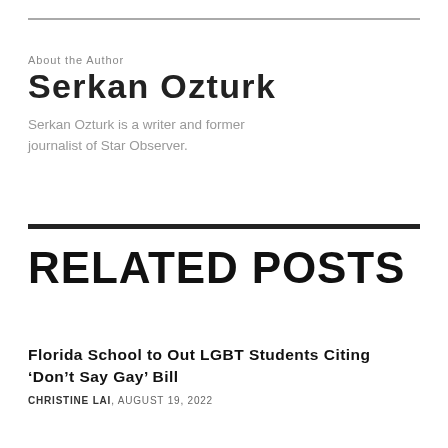About the Author
Serkan Ozturk
Serkan Ozturk is a writer and former journalist of Star Observer.
RELATED POSTS
Florida School to Out LGBT Students Citing ‘Don’t Say Gay’ Bill
CHRISTINE LAI, AUGUST 19, 2022